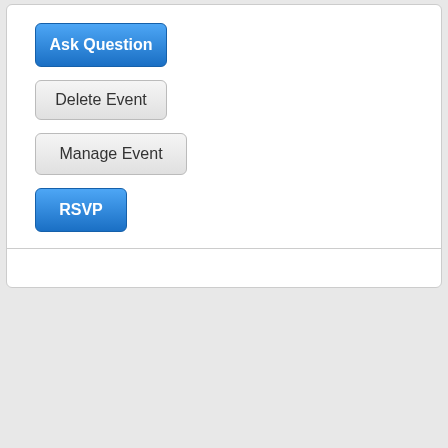[Figure (screenshot): UI panel with four buttons: Ask Question (blue), Delete Event (gray), Manage Event (gray), RSVP (blue)]
Events Calendar
[Figure (screenshot): Calendar widget showing September 2022 with navigation arrows and day headers: Sun, Mon, Tue, Wed, Thu, Fri, Sat]